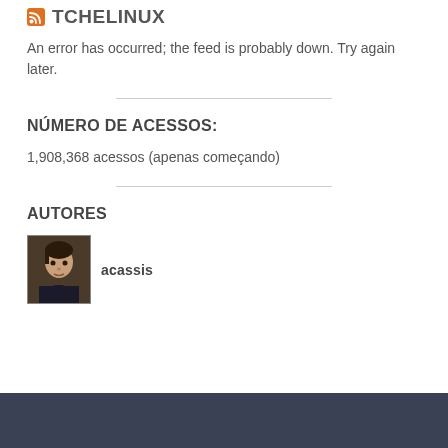TCHELINUX
An error has occurred; the feed is probably down. Try again later.
NÚMERO DE ACESSOS:
1,908,368 acessos (apenas começando)
AUTORES
[Figure (photo): Author profile photo of acassis]
acassis